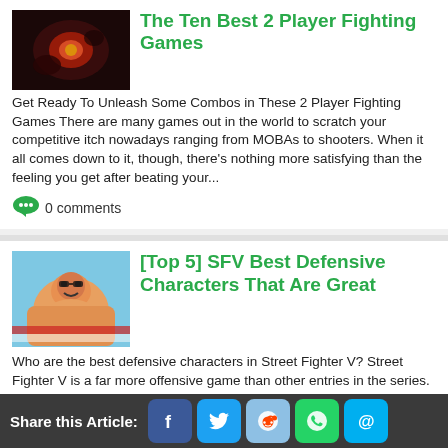[Figure (photo): Fighting game screenshot with red glow and characters]
The Ten Best 2 Player Fighting Games
Get Ready To Unleash Some Combos in These 2 Player Fighting Games There are many games out in the world to scratch your competitive itch nowadays ranging from MOBAs to shooters. When it all comes down to it, though, there's nothing more satisfying than the feeling you get after beating your...
0 comments
[Figure (photo): Street Fighter V character illustration, colorful cartoon style]
[Top 5] SFV Best Defensive Characters That Are Great
Who are the best defensive characters in Street Fighter V? Street Fighter V is a far more offensive game than other entries in the series. Still, since SFV is a footsies, ground-based game, blocking is one of the most important aspects of the game, and since many characters tend to go toward the...
Share this Article: